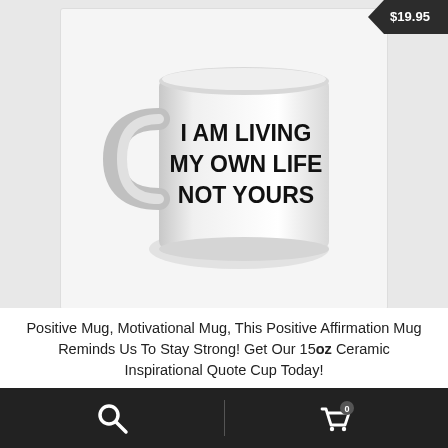[Figure (photo): White ceramic mug with bold black text reading 'I AM LIVING MY OWN LIFE NOT YOURS' printed on the side. The mug has a handle on the left side and is photographed against a white background.]
Positive Mug, Motivational Mug, This Positive Affirmation Mug Reminds Us To Stay Strong! Get Our 15oz Ceramic Inspirational Quote Cup Today!